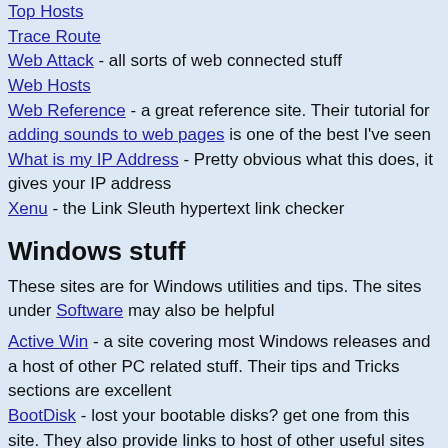Top Hosts
Trace Route
Web Attack - all sorts of web connected stuff
Web Hosts
Web Reference - a great reference site. Their tutorial for adding sounds to web pages is one of the best I've seen
What is my IP Address - Pretty obvious what this does, it gives your IP address
Xenu - the Link Sleuth hypertext link checker
Windows stuff
These sites are for Windows utilities and tips. The sites under Software may also be helpful
Active Win - a site covering most Windows releases and a host of other PC related stuff. Their tips and Tricks sections are excellent
BootDisk - lost your bootable disks? get one from this site. They also provide links to host of other useful sites
Computer Hope - Window, DOS, Games, Downloads this site is good
Computing Net - forums, FAQs, drivers, installation guides and tons of other stuff
Directron : Overclocking - How to overclock your CPU